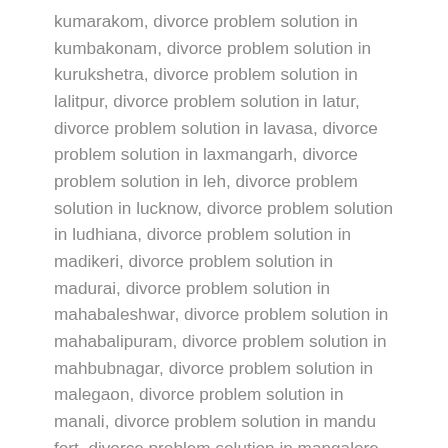kumarakom, divorce problem solution in kumbakonam, divorce problem solution in kurukshetra, divorce problem solution in lalitpur, divorce problem solution in latur, divorce problem solution in lavasa, divorce problem solution in laxmangarh, divorce problem solution in leh, divorce problem solution in lucknow, divorce problem solution in ludhiana, divorce problem solution in madikeri, divorce problem solution in madurai, divorce problem solution in mahabaleshwar, divorce problem solution in mahabalipuram, divorce problem solution in mahbubnagar, divorce problem solution in malegaon, divorce problem solution in manali, divorce problem solution in mandu fort, divorce problem solution in mangalore, divorce problem solution in manipal, divorce problem solution in margoa, divorce problem solution in mathura, divorce problem solution in meerut, divorce problem solution in mirzapur, divorce problem solution in mohali, divorce problem solution in mokokchung, divorce problem solution in moradabad, divorce problem solution in morena, divorce problem solution in motihari, divorce problem solution in mount abu, divorce problem solution in